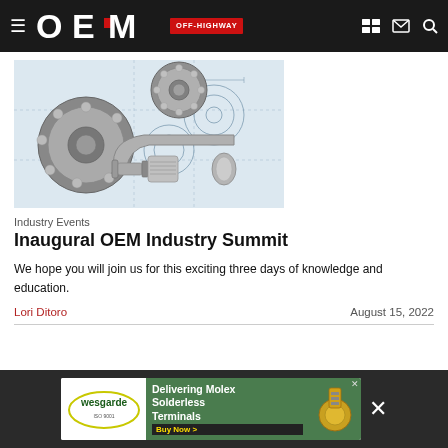OEM OFF-HIGHWAY
[Figure (photo): Engineering components including ball bearings of various sizes and a micrometer gauge placed on top of mechanical engineering technical drawings/blueprints.]
Industry Events
Inaugural OEM Industry Summit
We hope you will join us for this exciting three days of knowledge and education.
Lori Ditoro
August 15, 2022
[Figure (infographic): Advertisement banner for Wesgarde featuring Molex Solderless Terminals with a Buy Now call to action button, on a dark background with a close X button.]